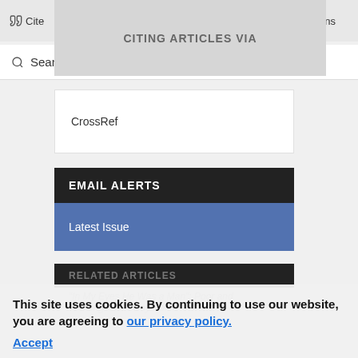Cite  CITING ARTICLES VIA  Share  Permissions
Search Site  Google Scholar
CrossRef
EMAIL ALERTS
Latest Issue
RELATED ARTICLES
"In My Eyes He Was a Man": Poor and Working-Class Boy Soldiers in the
This site uses cookies. By continuing to use our website, you are agreeing to our privacy policy. Accept